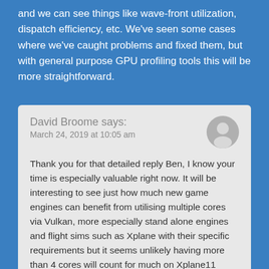and we can see things like wave-front utilization, dispatch efficiency, etc. We've seen some cases where we've caught problems and fixed them, but with general purpose GPU profiling tools this will be more straightforward.
David Broome says:
March 24, 2019 at 10:05 am

Thank you for that detailed reply Ben, I know your time is especially valuable right now. It will be interesting to see just how much new game engines can benefit from utilising multiple cores via Vulkan, more especially stand alone engines and flight sims such as Xplane with their specific requirements but it seems unlikely having more than 4 cores will count for much on Xplane11 Vulkan as with most current games but hopefully Xplane scales well to for multi core use.

For layman such as me who do not fully